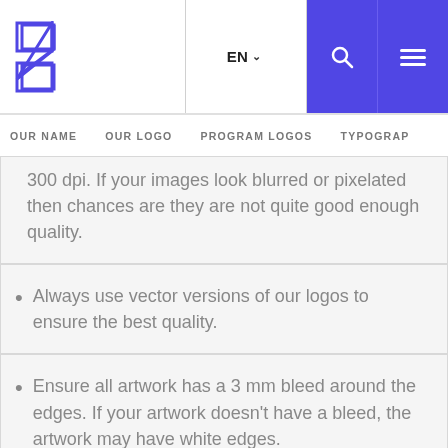Logo | EN | Search | Menu
OUR NAME  OUR LOGO  PROGRAM LOGOS  TYPOGRAPHY
300 dpi. If your images look blurred or pixelated then chances are they are not quite good enough quality.
Always use vector versions of our logos to ensure the best quality.
Ensure all artwork has a 3 mm bleed around the edges. If your artwork doesn't have a bleed, the artwork may have white edges.